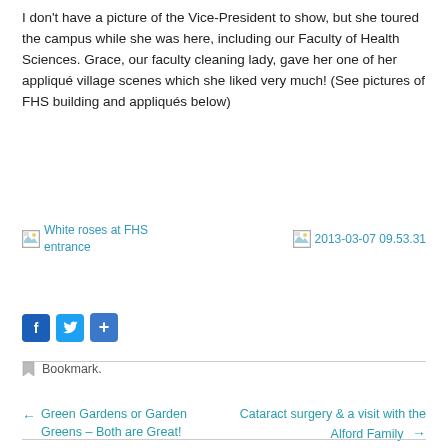I don’t have a picture of the Vice-President to show, but she toured the campus while she was here, including our Faculty of Health Sciences. Grace, our faculty cleaning lady, gave her one of her appliqué village scenes which she liked very much! (See pictures of FHS building and appliqués below)
[Figure (photo): Broken image placeholder labeled 'White roses at FHS entrance']
[Figure (photo): Broken image placeholder labeled '2013-03-07 09.53.31']
Facebook Twitter Share buttons
Bookmark.
← Green Gardens or Garden Greens – Both are Great!
Cataract surgery & a visit with the Alford Family →